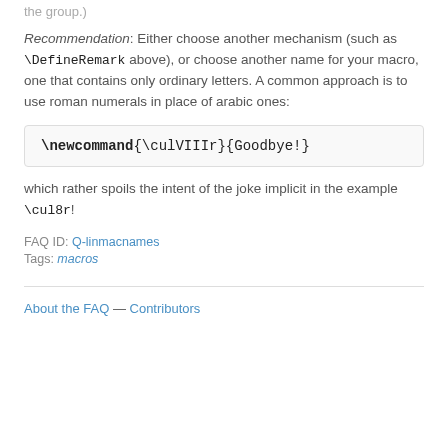the group.)
Recommendation: Either choose another mechanism (such as \DefineRemark above), or choose another name for your macro, one that contains only ordinary letters. A common approach is to use roman numerals in place of arabic ones:
\newcommand{\culVIIIr}{Goodbye!}
which rather spoils the intent of the joke implicit in the example \cul8r!
FAQ ID: Q-linmacnames
Tags: macros
About the FAQ — Contributors